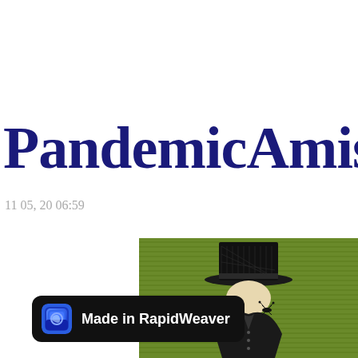PandemicAmis
11 05, 20 06:59
[Figure (illustration): Green-tinted engraving illustration showing a figure in a top hat against a striped green background, rendered in black and white cross-hatching style]
Made in RapidWeaver